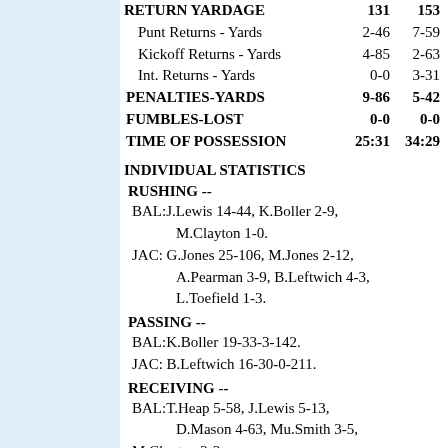| Category | BAL | JAC |
| --- | --- | --- |
| RETURN YARDAGE | 131 | 153 |
| Punt Returns - Yards | 2-46 | 7-59 |
| Kickoff Returns - Yards | 4-85 | 2-63 |
| Int. Returns - Yards | 0-0 | 3-31 |
| PENALTIES-YARDS | 9-86 | 5-42 |
| FUMBLES-LOST | 0-0 | 0-0 |
| TIME OF POSSESSION | 25:31 | 34:29 |
INDIVIDUAL STATISTICS
RUSHING --
BAL:J.Lewis 14-44, K.Boller 2-9, M.Clayton 1-0.
JAC: G.Jones 25-106, M.Jones 2-12, A.Pearman 3-9, B.Leftwich 4-3, L.Toefield 1-3.
PASSING --
BAL:K.Boller 19-33-3-142.
JAC: B.Leftwich 16-30-0-211.
RECEIVING --
BAL:T.Heap 5-58, J.Lewis 5-13, D.Mason 4-63, Mu.Smith 3-5, M.Clayton 2-3.
JAC: M.Jones 5-117, J.Smith 3-43, G.Wrighster 2-10, D.Wimbush 2-9, L.Toefield 1-11, F.Wilford 1-